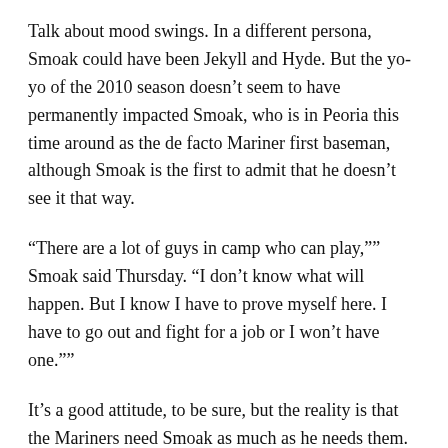Talk about mood swings. In a different persona, Smoak could have been Jekyll and Hyde. But the yo-yo of the 2010 season doesn't seem to have permanently impacted Smoak, who is in Peoria this time around as the de facto Mariner first baseman, although Smoak is the first to admit that he doesn't see it that way.
“There are a lot of guys in camp who can play,”” Smoak said Thursday. “I don’t know what will happen. But I know I have to prove myself here. I have to go out and fight for a job or I won’t have one.””
It’s a good attitude, to be sure, but the reality is that the Mariners need Smoak as much as he needs them. The club needs for Smoak to have some success so the trade of former Cy Young Award winner Lee won't down as another in a series snafus in Trade Central.